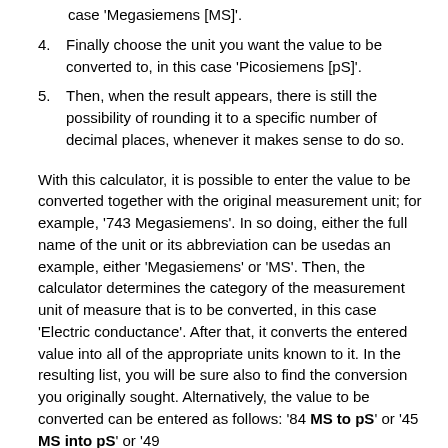case 'Megasiemens [MS]'.
Finally choose the unit you want the value to be converted to, in this case 'Picosiemens [pS]'.
Then, when the result appears, there is still the possibility of rounding it to a specific number of decimal places, whenever it makes sense to do so.
With this calculator, it is possible to enter the value to be converted together with the original measurement unit; for example, '743 Megasiemens'. In so doing, either the full name of the unit or its abbreviation can be usedas an example, either 'Megasiemens' or 'MS'. Then, the calculator determines the category of the measurement unit of measure that is to be converted, in this case 'Electric conductance'. After that, it converts the entered value into all of the appropriate units known to it. In the resulting list, you will be sure also to find the conversion you originally sought. Alternatively, the value to be converted can be entered as follows: '84 MS to pS' or '45 MS into pS' or '49